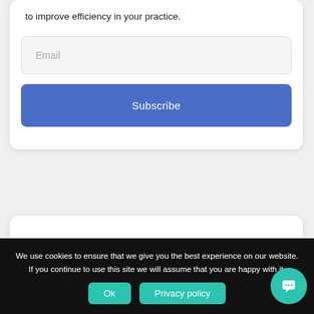to improve efficiency in your practice.
Email
Subscribe
You Might Also Like
We use cookies to ensure that we give you the best experience on our website. If you continue to use this site we will assume that you are happy with it.
Ok
Privacy policy